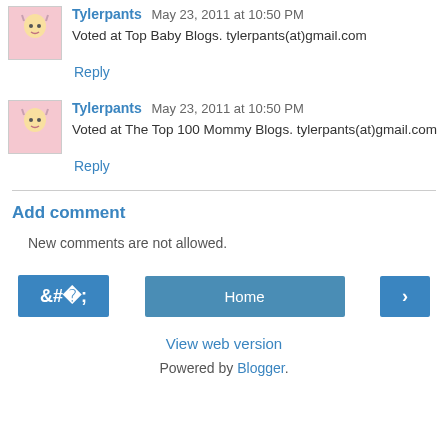Tylerpants May 23, 2011 at 10:50 PM
Voted at Top Baby Blogs. tylerpants(at)gmail.com
Reply
Tylerpants May 23, 2011 at 10:50 PM
Voted at The Top 100 Mommy Blogs. tylerpants(at)gmail.com
Reply
Add comment
New comments are not allowed.
Home
View web version
Powered by Blogger.